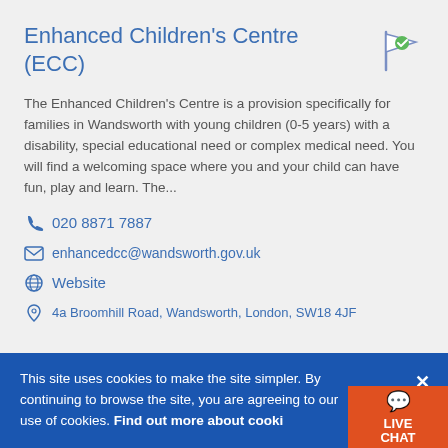Enhanced Children's Centre (ECC)
The Enhanced Children's Centre is a provision specifically for families in Wandsworth with young children (0-5 years) with a disability, special educational need or complex medical need. You will find a welcoming space where you and your child can have fun, play and learn. The...
020 8871 7887
enhancedcc@wandsworth.gov.uk
Website
4a Broomhill Road, Wandsworth, London, SW18 4JF
This site uses cookies to make the site simpler. By continuing to browse the site, you are agreeing to our use of cookies. Find out more about cookies